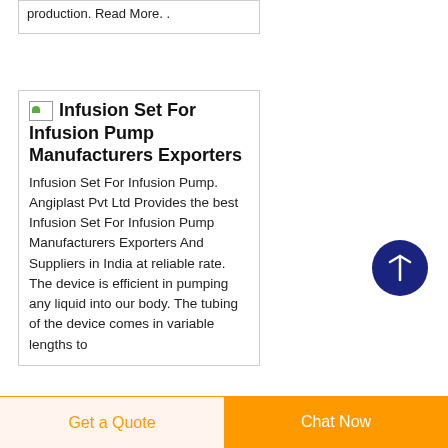production. Read More. .
Infusion Set For Infusion Pump Manufacturers Exporters
Infusion Set For Infusion Pump. Angiplast Pvt Ltd Provides the best Infusion Set For Infusion Pump Manufacturers Exporters And Suppliers in India at reliable rate. The device is efficient in pumping any liquid into our body. The tubing of the device comes in variable lengths to
Get a Quote | Chat Now